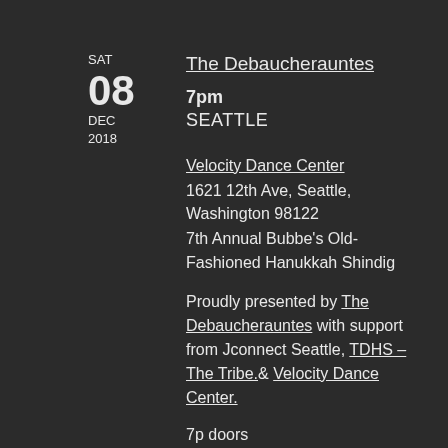SAT
08
DEC
2018
The Debaucherauntes
7pm
SEATTLE
Velocity Dance Center
1621 12th Ave, Seattle, Washington 98122
7th Annual Bubbe's Old-Fashioned Hanukkah Shindig
Proudly presented by The Debaucherauntes with support from Jconnect Seattle, TDHS – The Tribe.& Velocity Dance Center.
7p doors